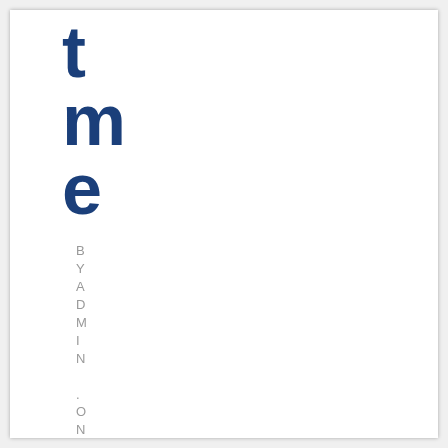time
BY ADMIN . ON JULY 30TH . 2016